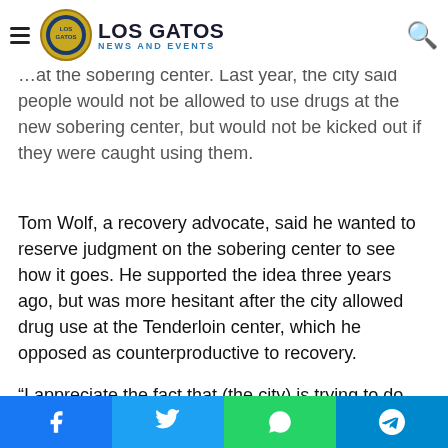Los Gatos News and Events
the city said people would not be allowed to use drugs at the new sobering center, but would not be kicked out if they were caught using them.
Tom Wolf, a recovery advocate, said he wanted to reserve judgment on the sobering center to see how it goes. He supported the idea three years ago, but was more hesitant after the city allowed drug use at the Tenderloin center, which he opposed as counterproductive to recovery.
“I appreciate the fact that (the city) is trying to do something to address drugs and people in crisis,” he said. “I’m not 100% sold that this low-barrier approach where they give people a space to use done, when it’s not a clinical setting like a drug
Facebook Twitter WhatsApp Telegram